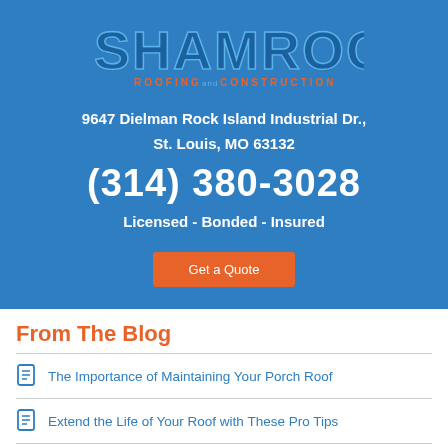[Figure (logo): Shamrock Roofing and Construction logo in blue/orange on blue background]
9647 Dielman Rock Island Industrial Dr.,
St. Louis, MO 63132
(314) 380-3028
Licensed - Bonded - Insured
Get a Quote
From The Blog
The Importance of Maintaining Your Porch Roof
Extend the Life of Your Roof with These Pro Tips
Choosing a Metal Roof for Your Bentonville Home